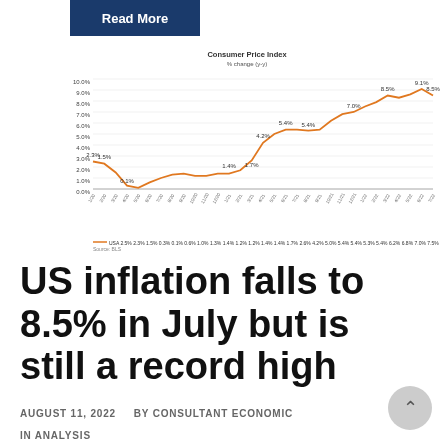[Figure (line-chart): Consumer Price Index % change (y-y)]
US inflation falls to 8.5% in July but is still a record high
AUGUST 11, 2022   BY CONSULTANT ECONOMIC
IN ANALYSIS